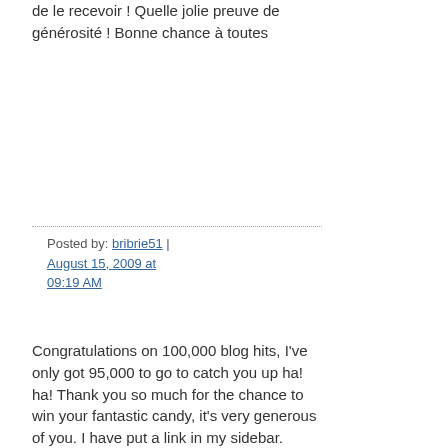de le recevoir ! Quelle jolie preuve de générosité ! Bonne chance à toutes
Posted by: bribrie51 | August 15, 2009 at 09:19 AM
Congratulations on 100,000 blog hits, I've only got 95,000 to go to catch you up ha! ha! Thank you so much for the chance to win your fantastic candy, it's very generous of you. I have put a link in my sidebar.
Posted by: Daisychain | August 15, 2009 at 11:01 AM